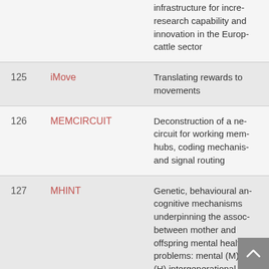| # | Project | Description |
| --- | --- | --- |
|  |  | infrastructure for incre... research capability and... innovation in the Europ... cattle sector |
| 125 | iMove | Translating rewards to... movements |
| 126 | MEMCIRCUIT | Deconstruction of a ne... circuit for working mem... hubs, coding mechanis... and signal routing |
| 127 | MHINT | Genetic, behavioural an... cognitive mechanisms... underpinning the assoc... between mother and... offspring mental health... problems: mental (M) h... (H) intergenerational... transmission (INT)... (MHINT) |